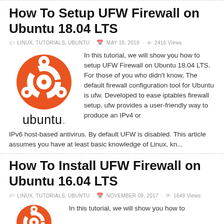How To Setup UFW Firewall on Ubuntu 18.04 LTS
LINUX, TUTORIALS, UBUNTU · MAY 18, 2018 · 2416 Views
[Figure (logo): Ubuntu logo: orange circle with Ubuntu symbol above the ubuntu wordmark]
In this tutorial, we will show you how to setup UFW Firewall on Ubuntu 18.04 LTS. For those of you who didn't know, The default firewall configuration tool for Ubuntu is ufw. Developed to ease iptables firewall setup, ufw provides a user-friendly way to produce an IPv4 or IPv6 host-based antivirus. By default UFW is disabled. This article assumes you have at least basic knowledge of Linux, kn...
How To Install UFW Firewall on Ubuntu 16.04 LTS
LINUX, TUTORIALS, UBUNTU · NOVEMBER 09, 2017 · 1649 Views
[Figure (logo): Partial Ubuntu logo (cropped at bottom)]
In this tutorial, we will show you how to